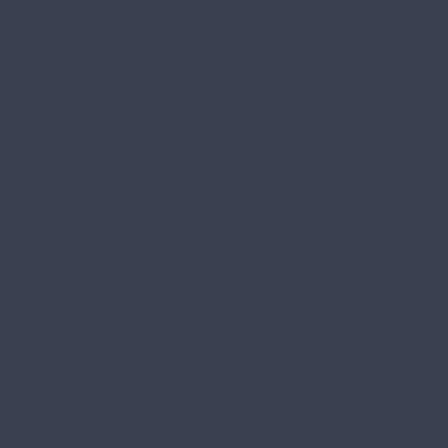His first group was Psycho Circus Unity (P.C.U.). "It's not what it's all about," says Preacher about the name. PCU was a Norwegian group, which had practically the same members: former NoID members, plus people where Preacher had now moved. NoID released a production that had a "certain Traction feel to it already." This was followed by a few releases. After that, Preacher lost the interest in the Scene.
That is, until a year later. "I almost missed Asmofest '02 where I witnessed the first Traction demo, called Forsaken. It reignited the spark back" for Preacher, and he ended up making his first Traction prod in '02: NET.
Motivation came in the summer of 2003, and he created "A Picturesque Study in Lines and Textures", Preacher's "first real" contribution to Traction. Of the original NoID members, Disk0nnect stayed with Traction. His name happens to be Heikki, the same friend who took him to Assembly. More recently, they have been joined by Rale, who also makes music, with good results.
Inward Exorcism
The demoscene seems to have a larger portion of introverts than the general population, and Preacher is one of these introverted sceners. He finds it hard to talk to people sometimes. He blames his introverted personality: "I'm pretty reserved and passive, and like to observe." He used to use the nickname Elsewhere, which I think describes this well.
Even so, Preacher is comfortable at demoparties and has been going to Assembly every year since 1996. But a life-changing event happened at Breakpoint '05.
Gargaj/Conspiracy had insisted that he needed to come visit him in Germany. Preacher stayed in Frankfurt just...